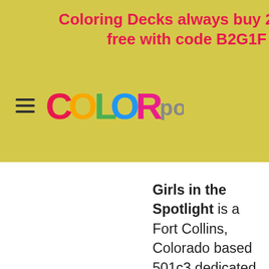Coloring Decks always buy 2 get 1 free with code B2G1F
[Figure (logo): COLORpockit logo with colorful bubble letters and shopping bag icon showing 0]
Girls in the Spotlight is a Fort Collins, Colorado based 501c3 dedicated to helping girls find their voice. They do this through creative and performing arts, leadership and entrepreneurship. They started after school programs in 2019 for 3-5th grade girls with their mission of inspiring and empowering girls to become world-class leaders. They're growing in Fort Collins due to their supportive community and are so thrilled to partner with the COLORpockit team. They introduced COLORpockits this year and there's